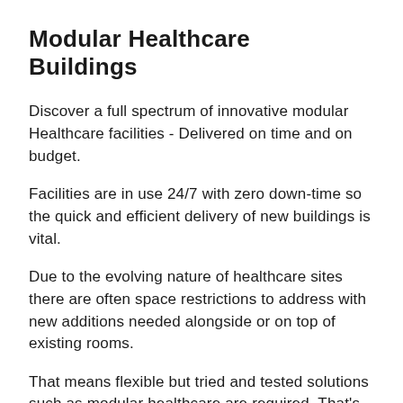Modular Healthcare Buildings
Discover a full spectrum of innovative modular Healthcare facilities - Delivered on time and on budget.
Facilities are in use 24/7 with zero down-time so the quick and efficient delivery of new buildings is vital.
Due to the evolving nature of healthcare sites there are often space restrictions to address with new additions needed alongside or on top of existing rooms.
That means flexible but tried and tested solutions such as modular healthcare are required. That's where modular construction